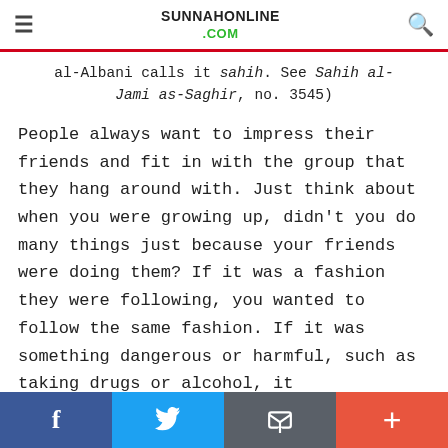SUNNAHONLINE .COM
al-Albani calls it sahih. See Sahih al-Jami as-Saghir, no. 3545)
People always want to impress their friends and fit in with the group that they hang around with. Just think about when you were growing up, didn't you do many things just because your friends were doing them? If it was a fashion they were following, you wanted to follow the same fashion. If it was something dangerous or harmful, such as taking drugs or alcohol, it
f  [twitter]  [email]  +